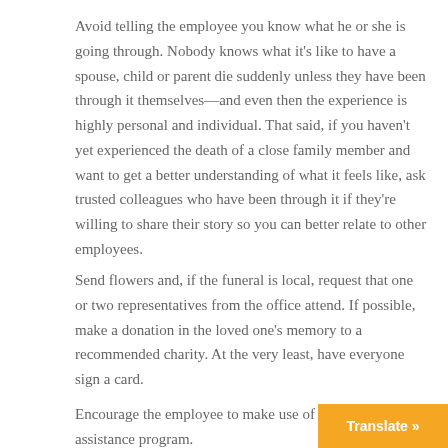Avoid telling the employee you know what he or she is going through. Nobody knows what it's like to have a spouse, child or parent die suddenly unless they have been through it themselves—and even then the experience is highly personal and individual. That said, if you haven't yet experienced the death of a close family member and want to get a better understanding of what it feels like, ask trusted colleagues who have been through it if they're willing to share their story so you can better relate to other employees.
Send flowers and, if the funeral is local, request that one or two representatives from the office attend. If possible, make a donation in the loved one's memory to a recommended charity. At the very least, have everyone sign a card.
Encourage the employee to make use of the employee assistance program.